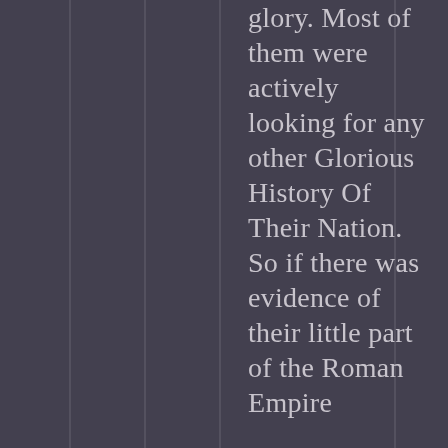glory. Most of them were actively looking for any other Glorious History Of Their Nation. So if there was evidence of their little part of the Roman Empire...